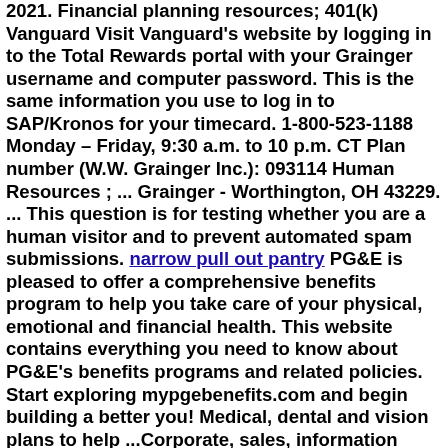2021. Financial planning resources; 401(k) Vanguard Visit Vanguard's website by logging in to the Total Rewards portal with your Grainger username and computer password. This is the same information you use to log in to SAP/Kronos for your timecard. 1-800-523-1188 Monday – Friday, 9:30 a.m. to 10 p.m. CT Plan number (W.W. Grainger Inc.): 093114 Human Resources ; ... Grainger - Worthington, OH 43229. ... This question is for testing whether you are a human visitor and to prevent automated spam submissions. narrow pull out pantry PG&E is pleased to offer a comprehensive benefits program to help you take care of your physical, emotional and financial health. This website contains everything you need to know about PG&E's benefits programs and related policies. Start exploring mypgebenefits.com and begin building a better you! Medical, dental and vision plans to help ...Corporate, sales, information Technology, Customer service, Product Management, Supply chain, Finance, Internship, ZORO, Imperial Jobs with Grainger Businesses 347 Human Resource jobs available in